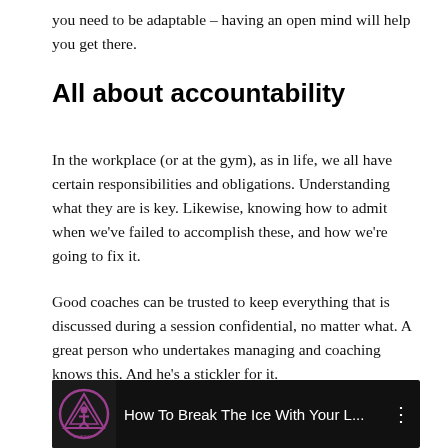you need to be adaptable – having an open mind will help you get there.
All about accountability
In the workplace (or at the gym), as in life, we all have certain responsibilities and obligations. Understanding what they are is key. Likewise, knowing how to admit when we've failed to accomplish these, and how we're going to fix it.
Good coaches can be trusted to keep everything that is discussed during a session confidential, no matter what. A great person who undertakes managing and coaching knows this. And he's a stickler for it.
[Figure (screenshot): Video thumbnail showing logo and title 'How To Break The Ice With Your L...' with a vertical dots menu icon on a dark background.]